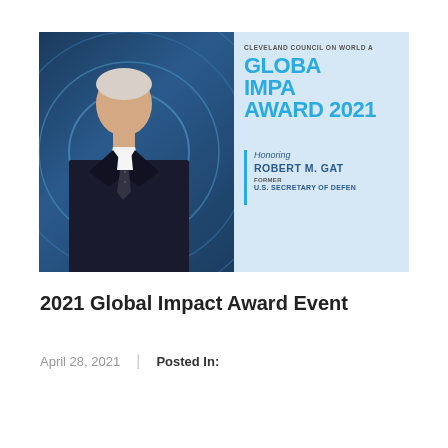[Figure (photo): Event banner image showing a man in a dark suit with a tie on the left, and on the right a blue/light blue background with text reading: CLEVELAND COUNCIL ON WORLD A[FFAIRS], GLOBAL IMPACT AWARD 2021, Honoring ROBERT M. GAT[ES], FORMER U.S. SECRETARY OF DEFEN[SE]]
2021 Global Impact Award Event
April 28, 2021 | Posted In: